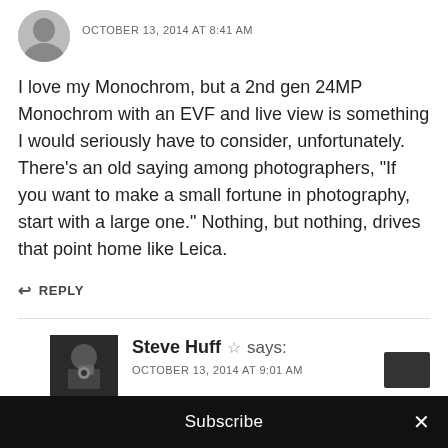OCTOBER 13, 2014 AT 8:41 AM
I love my Monochrom, but a 2nd gen 24MP Monochrom with an EVF and live view is something I would seriously have to consider, unfortunately. There’s an old saying among photographers, “If you want to make a small fortune in photography, start with a large one.” Nothing, but nothing, drives that point home like Leica.
↩ REPLY
Steve Huff ☆ says:
OCTOBER 13, 2014 AT 9:01 AM
Subscribe